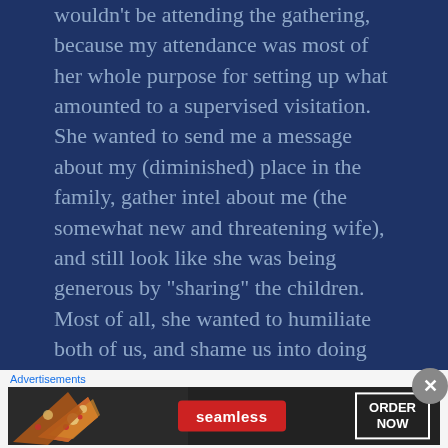wouldn't be attending the gathering, because my attendance was most of her whole purpose for setting up what amounted to a supervised visitation. She wanted to send me a message about my (diminished) place in the family, gather intel about me (the somewhat new and threatening wife), and still look like she was being generous by “sharing” the children. Most of all, she wanted to humiliate both of us, and shame us into doing what she wanted us to do. Of course, Bill had every right to see his kids, and now
Advertisements
[Figure (photo): Seamless food delivery advertisement banner featuring pizza slices on the left, a red Seamless logo button in the center, and an 'ORDER NOW' button outlined in white on the right, all on a dark background.]